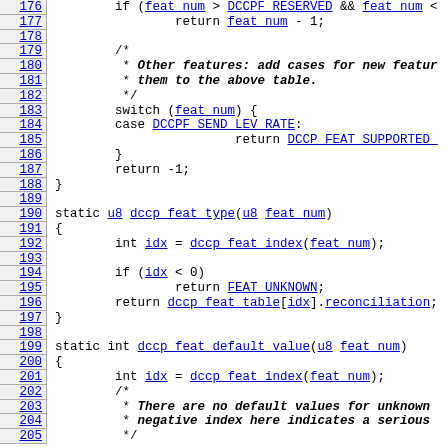[Figure (screenshot): Source code listing showing C code for dccp feature functions, lines 176-205, with line numbers on the left in blue underlined style and code on the right in monospace font. Contains function dccp_feat_type and dccp_feat_default_value with hyperlinked identifiers.]